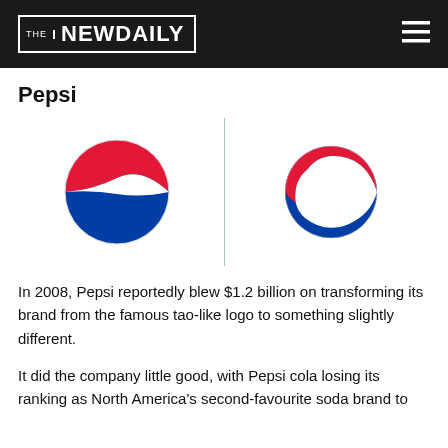THE NEW DAILY
Pepsi
[Figure (illustration): Two Pepsi logos side by side separated by a thin teal vertical line. Left: classic Pepsi circle logo with red top half, white wave, blue bottom half. Right: 2008 redesigned Pepsi logo with tilted red/white/blue segments, more asymmetric.]
In 2008, Pepsi reportedly blew $1.2 billion on transforming its brand from the famous tao-like logo to something slightly different.
It did the company little good, with Pepsi cola losing its ranking as North America's second-favourite soda brand to